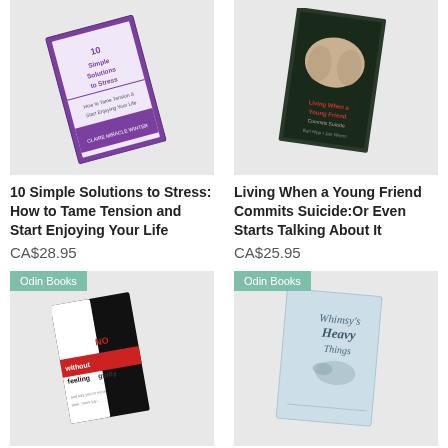[Figure (illustration): Book cover: 10 Simple Solutions to Stress, purple/white cover, tilted]
[Figure (illustration): Book cover: Living When a Young Friend Commits Suicide, dark cover with hands]
10 Simple Solutions to Stress: How to Tame Tension and Start Enjoying Your Life
CA$28.95
Living When a Young Friend Commits Suicide:Or Even Starts Talking About It
CA$25.95
[Figure (illustration): Book cover: How to say no without feeling guilty, black and white cover with red accent, Odin Books badge]
[Figure (illustration): Book cover: Whimsy's Heavy Things, light blue cover with bird, Odin Books badge]
How to say no without feeling guilty, and say yes to more time, more joy, and what
Whimsy's Heavy Things
CA$21.99